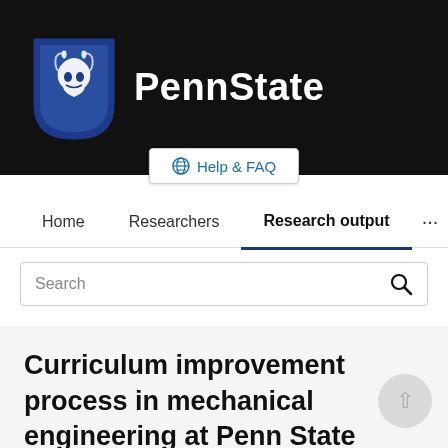[Figure (logo): Penn State University logo: shield with lion on dark background, with 'PennState' text in white bold font]
Help & FAQ
Home   Researchers   Research output   ...
Search
Curriculum improvement process in mechanical engineering at Penn State